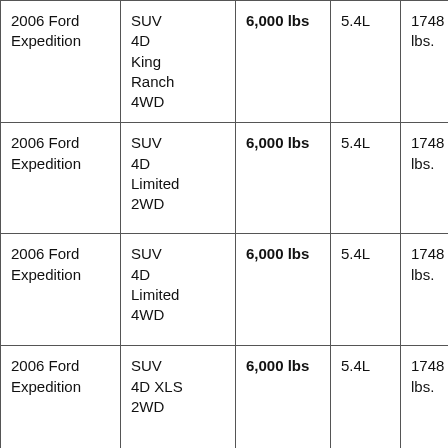| 2006 Ford Expedition | SUV 4D King Ranch 4WD | 6,000 lbs | 5.4L | 1748 lbs. |
| 2006 Ford Expedition | SUV 4D Limited 2WD | 6,000 lbs | 5.4L | 1748 lbs. |
| 2006 Ford Expedition | SUV 4D Limited 4WD | 6,000 lbs | 5.4L | 1748 lbs. |
| 2006 Ford Expedition | SUV 4D XLS 2WD | 6,000 lbs | 5.4L | 1748 lbs. |